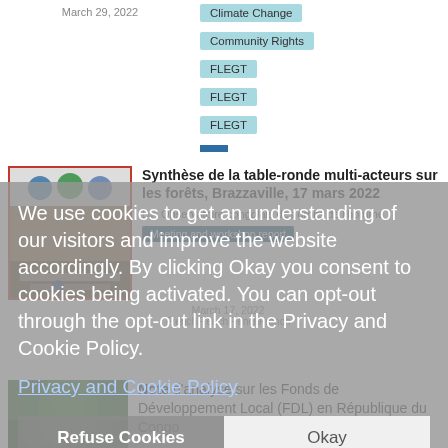March 29, 2022
Climate Change
Community Rights
FLEGT
FLEGT
FLEGT
Synthèse de la table-ronde multi-acteurs sur les forêts, Brazzaville, 17 mars 2022
By: Observatoire congolais des droits de l'homme
Meeting and workshop report
March 17, 2022
FrenchFrenchFrenchFrench
We use cookies to get an understanding of our visitors and improve the website accordingly. By clicking Okay you consent to cookies being activated. You can opt-out through the opt-out link in the Privacy and Cookie Policy.
Privacy and Cookie Policy
Refuse Cookies
Okay
[Figure (photo): Document thumbnail with logos and people photo]
Note d'analyse sur les Fonds de Développement Local (FDL) en République du Congo
[Figure (photo): Forest/tree photo thumbnail]